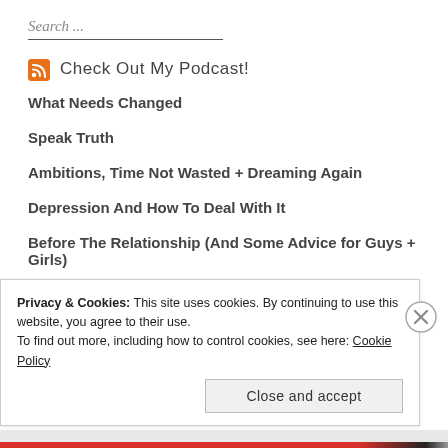Search ...
Check Out My Podcast!
What Needs Changed
Speak Truth
Ambitions, Time Not Wasted + Dreaming Again
Depression And How To Deal With It
Before The Relationship (And Some Advice for Guys + Girls)
Privacy & Cookies: This site uses cookies. By continuing to use this website, you agree to their use.
To find out more, including how to control cookies, see here: Cookie Policy
Close and accept